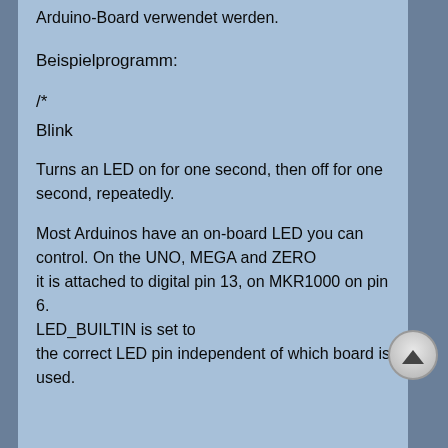Arduino-Board verwendet werden.
Beispielprogramm:
/*
Blink

Turns an LED on for one second, then off for one second, repeatedly.

Most Arduinos have an on-board LED you can control. On the UNO, MEGA and ZERO it is attached to digital pin 13, on MKR1000 on pin 6. LED_BUILTIN is set to the correct LED pin independent of which board is used.